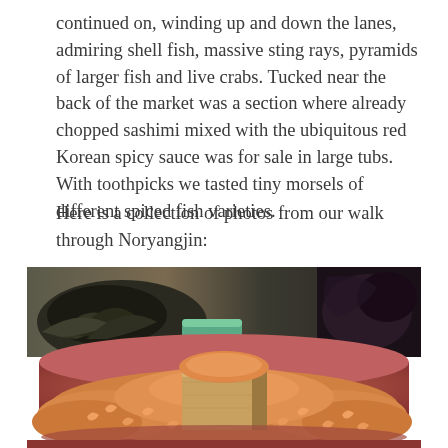continued on, winding up and down the lanes, admiring shell fish, massive sting rays, pyramids of larger fish and live crabs. Tucked near the back of the market was a section where already chopped sashimi mixed with the ubiquitous red Korean spicy sauce was for sale in large tubs. With toothpicks we tasted tiny morsels of different spiced fish varieties.
Here is a collection of photos from our walk through Noryangjin:
[Figure (photo): A large round terracotta-colored tray filled with dried small shrimp, with a square wooden box measure in the center heaped with shrimp. In the background there are dark leafy seaweed pieces on a plate, plastic bags of more product, and a teal/green container.]